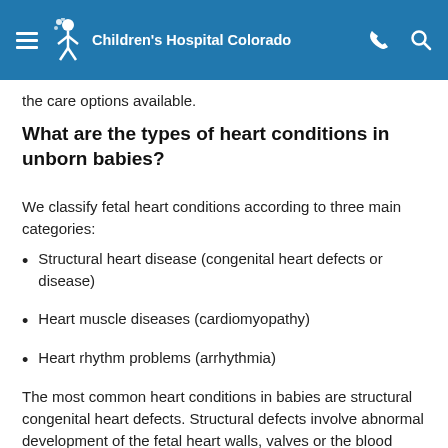Children's Hospital Colorado
the care options available.
What are the types of heart conditions in unborn babies?
We classify fetal heart conditions according to three main categories:
Structural heart disease (congenital heart defects or disease)
Heart muscle diseases (cardiomyopathy)
Heart rhythm problems (arrhythmia)
The most common heart conditions in babies are structural congenital heart defects. Structural defects involve abnormal development of the fetal heart walls, valves or the blood vessels that carry blood to and from the heart. Learn all about